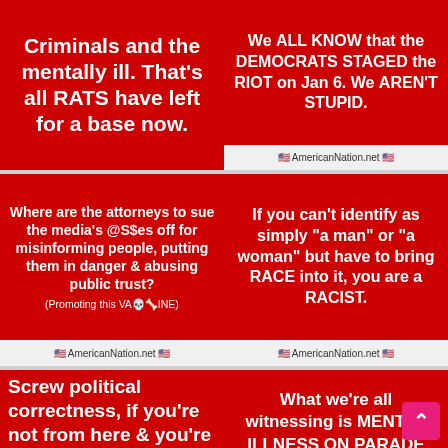[Figure (infographic): Red background meme card (partially cropped on left): 'Criminals and the mentally ill. That's all RATS have left for a base now.']
[Figure (infographic): Red background meme card: 'We ALL KNOW that the DEMOCRATS STAGED the RIOT on Jan 6. We AREN'T STUPID.' with AmericanNation.net attribution]
[Figure (infographic): Red background meme card: 'Where are the attorneys to sue the media's @S$es off for misinforming people, putting them in danger & abusing public trust? (Promoting this VACCINE)' with AmericanNation.net attribution]
[Figure (infographic): Red background meme card: 'If you can't identify as simply "a man" or "a woman" but have to bring RACE into it, you are a RACIST.' with AmericanNation.net attribution]
[Figure (infographic): Red background meme card (partially cropped): 'Screw political correctness, if you're not from here & you're here illegally, you're a']
[Figure (infographic): Red background meme card (partially cropped): 'What we're all witnessing is MENTAL ILLNESS ON PARADE']